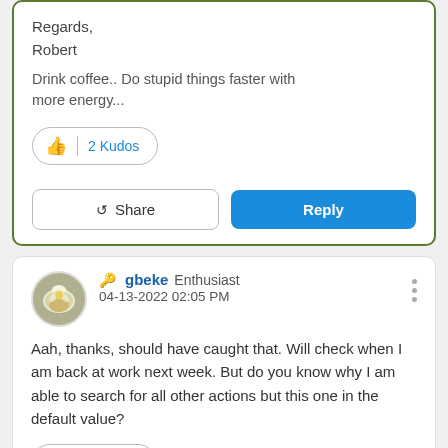Regards,
Robert
Drink coffee.. Do stupid things faster with more energy...
2 Kudos
Share
Reply
gbeke Enthusiast
04-13-2022 02:05 PM
Aah, thanks, should have caught that. Will check when I am back at work next week. But do you know why I am able to search for all other actions but this one in the default value?
0 Kudos
Cookie Settings